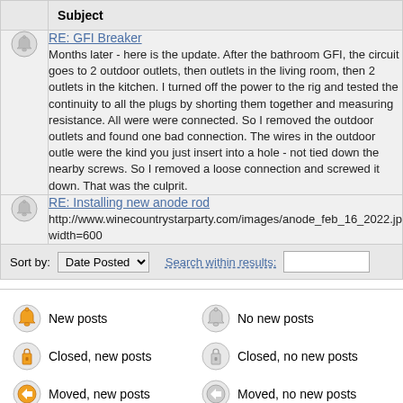|  | Subject |
| --- | --- |
| [icon] | RE: GFI Breaker
Months later - here is the update. After the bathroom GFI, the circuit goes to 2 outdoor outlets, then outlets in the living room, then 2 outlets in the kitchen. I turned off the power to the rig and tested the continuity to all the plugs by shorting them together and measuring resistance. All were were connected. So I removed the outdoor outlets and found one bad connection. The wires in the outdoor outlet were the kind you just insert into a hole - not tied down the nearby screws. So I removed a loose connection and screwed it down. That was the culprit. |
| [icon] | RE: Installing new anode rod
http://www.winecountrystarparty.com/images/anode_feb_16_2022.jp width=600 |
Sort by: Date Posted  Search within results:
New posts
No new posts
Closed, new posts
Closed, no new posts
Moved, new posts
Moved, no new posts